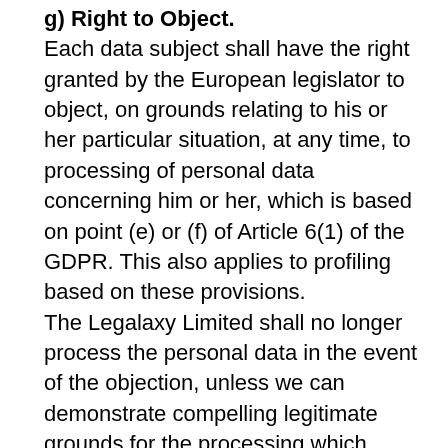g) Right to Object
Each data subject shall have the right granted by the European legislator to object, on grounds relating to his or her particular situation, at any time, to processing of personal data concerning him or her, which is based on point (e) or (f) of Article 6(1) of the GDPR. This also applies to profiling based on these provisions.
The Legalaxy Limited shall no longer process the personal data in the event of the objection, unless we can demonstrate compelling legitimate grounds for the processing which override the interests, rights and freedoms of the data subject, or for the establishment, exercise or defence of legal claims.If the Legalaxy Limited processes personal data for direct marketing purposes, the data subject shall have the right to object at any time to processing of personal data concerning him or her for such marketing. This direct